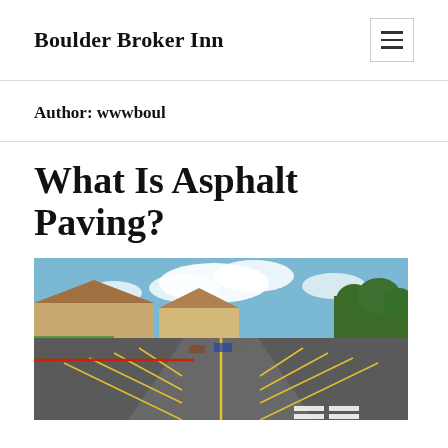Boulder Broker Inn
Author: wwwboul
What Is Asphalt Paving?
[Figure (photo): Aerial view of an asphalt parking lot with yellow and red painted lines, houses and trees in the background, blue sky with clouds]